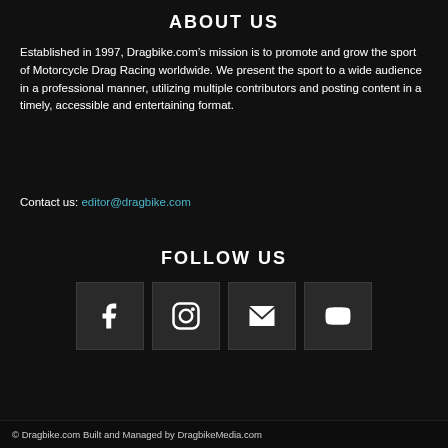ABOUT US
Established in 1997, Dragbike.com’s mission is to promote and grow the sport of Motorcycle Drag Racing worldwide. We present the sport to a wide audience in a professional manner, utilizing multiple contributors and posting content in a timely, accessible and entertaining format.
Contact us: editor@dragbike.com
FOLLOW US
[Figure (infographic): Four social media icon buttons in dark square boxes: Facebook (f), Instagram (camera), Email (envelope/X), YouTube (play button)]
© Dragbike.com Built and Managed by DragbikeMedia.com